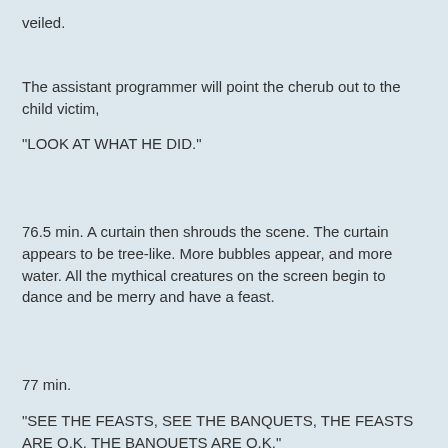veiled.
The assistant programmer will point the cherub out to the child victim,
"LOOK AT WHAT HE DID."
76.5 min. A curtain then shrouds the scene. The curtain appears to be tree-like. More bubbles appear, and more water. All the mythical creatures on the screen begin to dance and be merry and have a feast.
77 min.
"SEE THE FEASTS, SEE THE BANQUETS, THE FEASTS ARE O.K. THE BANQUETS ARE O.K."
78 min.